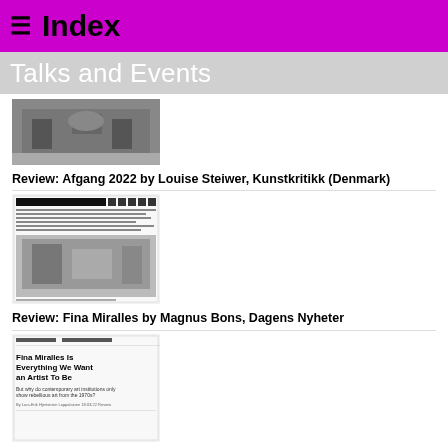≡ Index
Talks and Events
[Figure (photo): Black and white photo of a building facade with sculptural detail]
Review: Afgang 2022 by Louise Steiwer, Kunstkritikk (Denmark)
[Figure (screenshot): Screenshot of Dagens Nyheter newspaper article about Fina Miralles with black and white installation photo]
Review: Fina Miralles by Magnus Bons, Dagens Nyheter
[Figure (screenshot): Screenshot of Kunstkritikk article: Fina Miralles Is Everything We Want an Artist To Be]
Review: Fina Miralles by Lars-Erik Hjertström Lappalainen, Kunstkritikk